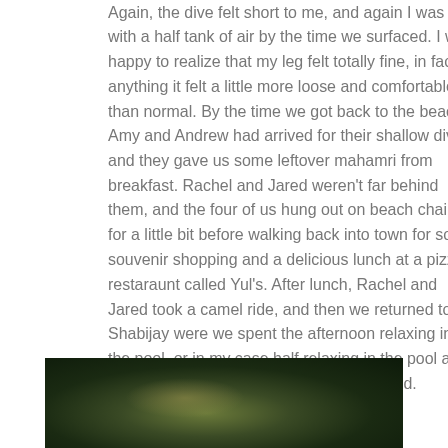Again, the dive felt short to me, and again I was left with a half tank of air by the time we surfaced. I was happy to realize that my leg felt totally fine, in fact if anything it felt a little more loose and comfortable than normal. By the time we got back to the beach, Amy and Andrew had arrived for their shallow dive, and they gave us some leftover mahamri from breakfast. Rachel and Jared weren't far behind them, and the four of us hung out on beach chairs for a little bit before walking back into town for some souvenir shopping and a delicious lunch at a pizza restaraunt called Yul's. After lunch, Rachel and Jared took a camel ride, and then we returned to Shabijay were we spent the afternoon relaxing in the pool–or in my case half relaxing in the pool and half stalking agama lizards around the yard.
[Figure (photo): A dark, blurry photograph showing a dark green outdoor scene, likely a garden or yard area with foliage, partially visible at the bottom of the page.]